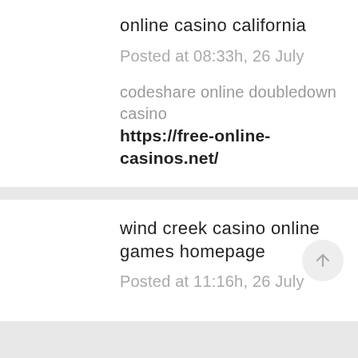online casino california
Posted at 08:33h, 26 July
codeshare online doubledown casino
https://free-online-casinos.net/
wind creek casino online games homepage
Posted at 11:16h, 26 July